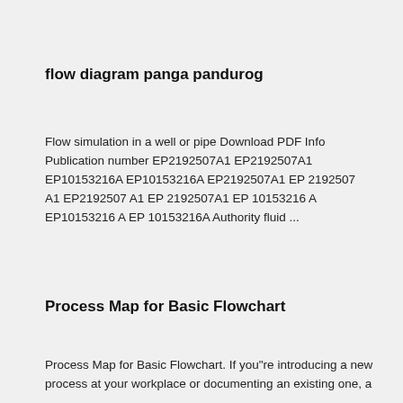flow diagram panga pandurog
Flow simulation in a well or pipe Download PDF Info Publication number EP2192507A1 EP2192507A1 EP10153216A EP10153216A EP2192507A1 EP 2192507 A1 EP2192507 A1 EP 2192507A1 EP 10153216 A EP10153216 A EP 10153216A Authority fluid ...
Process Map for Basic Flowchart
Process Map for Basic Flowchart. If you"re introducing a new process at your workplace or documenting an existing one, a